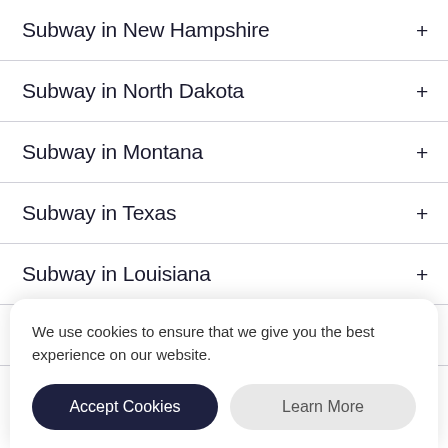Subway in New Hampshire
Subway in North Dakota
Subway in Montana
Subway in Texas
Subway in Louisiana
Subway in Georgia
We use cookies to ensure that we give you the best experience on our website.
Accept Cookies
Learn More